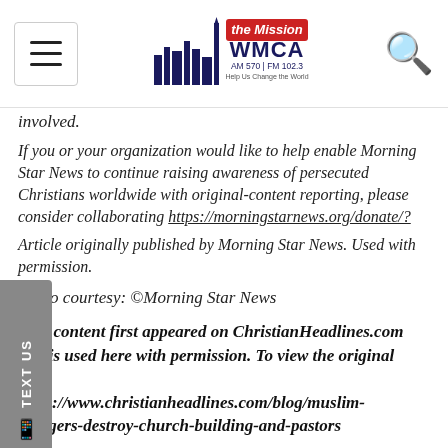WMCA The Mission AM 570 | FM 102.3
involved.
If you or your organization would like to help enable Morning Star News to continue raising awareness of persecuted Christians worldwide with original-content reporting, please consider collaborating https://morningstarnews.org/donate/?
Article originally published by Morning Star News. Used with permission.
Photo courtesy: ©Morning Star News
This content first appeared on ChristianHeadlines.com and is used here with permission. To view the original visit: https://www.christianheadlines.com/blog/muslim-villagers-destroy-church-building-and-pastors